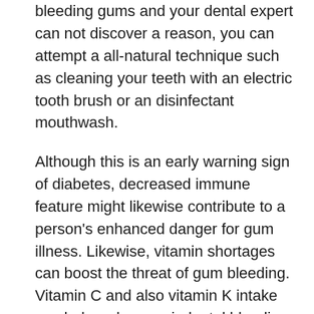bleeding gums and your dental expert can not discover a reason, you can attempt a all-natural technique such as cleaning your teeth with an electric tooth brush or an disinfectant mouthwash.
Although this is an early warning sign of diabetes, decreased immune feature might likewise contribute to a person's enhanced danger for gum illness. Likewise, vitamin shortages can boost the threat of gum bleeding. Vitamin C and also vitamin K intake can help reduce periodontal bleeding. As discussed above, a healthy and balanced diet regimen can help prevent the beginning of bleeding gum tissues. The major goal is to get your teeth to look their best and also feel excellent. The blood loss periodontals